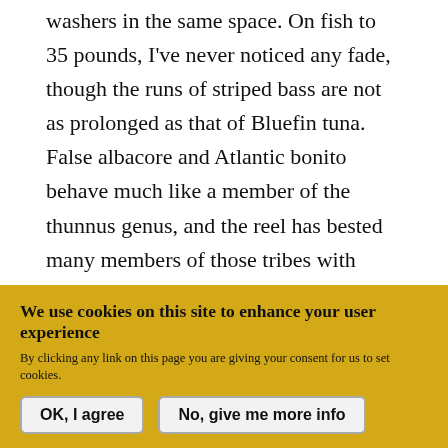washers in the same space. On fish to 35 pounds, I've never noticed any fade, though the runs of striped bass are not as prolonged as that of Bluefin tuna. False albacore and Atlantic bonito behave much like a member of the thunnus genus, and the reel has bested many members of those tribes with ease.
Sealed
I don't swim with my reels like some surf anglers do, but I've never shied away from breakers either. Despite my best efforts, this reel has been dunked
We use cookies on this site to enhance your user experience
By clicking any link on this page you are giving your consent for us to set cookies.
OK, I agree   No, give me more info